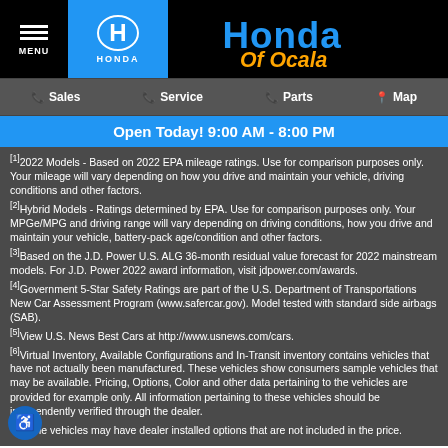MENU | Honda of Ocala | Sales | Service | Parts | Map
Open Today! 9:00 AM - 8:00 PM
[1]2022 Models - Based on 2022 EPA mileage ratings. Use for comparison purposes only. Your mileage will vary depending on how you drive and maintain your vehicle, driving conditions and other factors.
[2]Hybrid Models - Ratings determined by EPA. Use for comparison purposes only. Your MPGe/MPG and driving range will vary depending on driving conditions, how you drive and maintain your vehicle, battery-pack age/condition and other factors.
[3]Based on the J.D. Power U.S. ALG 36-month residual value forecast for 2022 mainstream models. For J.D. Power 2022 award information, visit jdpower.com/awards.
[4]Government 5-Star Safety Ratings are part of the U.S. Department of Transportations New Car Assessment Program (www.safercar.gov). Model tested with standard side airbags (SAB).
[5]View U.S. News Best Cars at http://www.usnews.com/cars.
[6]Virtual Inventory, Available Configurations and In-Transit inventory contains vehicles that have not actually been manufactured. These vehicles show consumers sample vehicles that may be available. Pricing, Options, Color and other data pertaining to the vehicles are provided for example only. All information pertaining to these vehicles should be independently verified through the dealer.
[7]Some vehicles may have dealer installed options that are not included in the price.